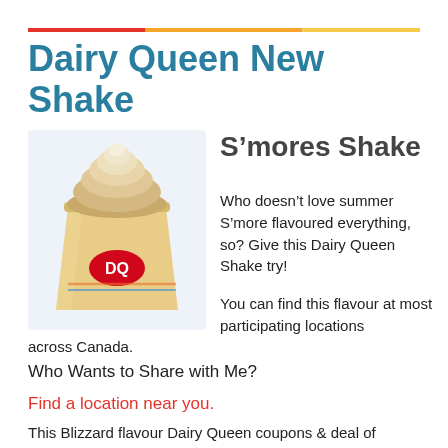Dairy Queen New Shake
[Figure (photo): A Dairy Queen S'mores shake in a clear plastic cup with swirled soft-serve topping and the DQ logo on the cup, against a light blue background]
S’mores Shake
Who doesn’t love summer S’more flavoured everything, so? Give this Dairy Queen Shake try!
You can find this flavour at most participating locations across Canada.
Who Wants to Share with Me?
Find a location near you.
This Blizzard flavour Dairy Queen coupons & deal of